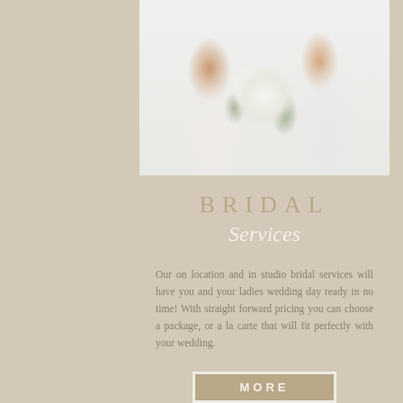[Figure (photo): Wedding photo showing couple from waist down, bride holding large white floral bouquet with greenery, bride in white dress, groom in white suit]
BRIDAL Services
Our on location and in studio bridal services will have you and your ladies wedding day ready in no time! With straight forward pricing you can choose a package, or a la carte that will fit perfectly with your wedding.
MORE